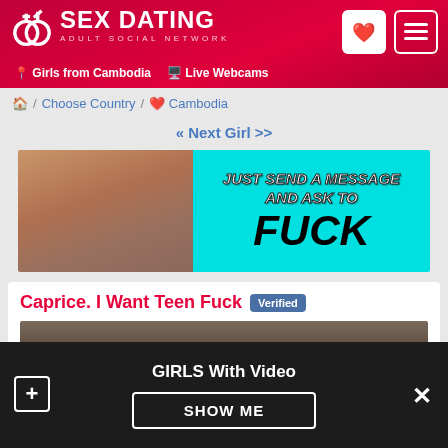SEX DATING ADULT SOCIAL NETWORK | Girls from Cambodia | Live Webcams
Home / Choose Country / Cambodia
« Next Girl >>
[Figure (photo): Adult dating site advertisement banner with photo on left and cyan panel on right reading JUST SEND A MESSAGE AND ASK TO FUCK]
Caprice. I Want Teen Fuck Verified
[Figure (photo): Partial profile photo of a user]
GIRLS With Video
SHOW ME